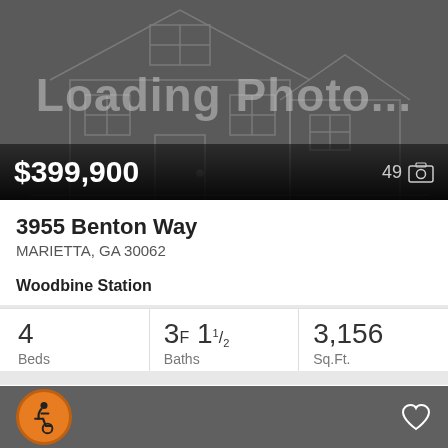[Figure (photo): Loading photo placeholder with house outline silhouette on dark gray background]
$399,900
49 photos
3955 Benton Way
MARIETTA, GA 30062
Woodbine Station
4 Beds
3F 1 1/2 Baths
3,156 Sq.Ft.
FMLS Berkshire Hathaway Homeservices Georgia Properties
[Figure (illustration): Bottom bar with accessibility icon (orange circle with wheelchair user) and heart/favorite icon]